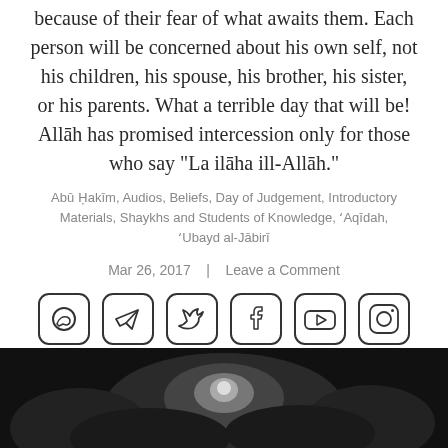because of their fear of what awaits them. Each person will be concerned about his own self, not his children, his spouse, his brother, his sister, or his parents. What a terrible day that will be! Allāh has promised intercession only for those who say “La ilāha ill-Allāh.”
Abū Ḥakīm, Audios, Beliefs, Day of Judgement, Introductory Materials, Shaykhs and Students of Knowledge, ʼAqīdah, ʼUbayd al-Jābirī
Mar 26, 2017  |  Leave a Comment
[Figure (infographic): Row of six social media icon buttons: WhatsApp, Telegram, Twitter, Facebook, YouTube, Instagram]
[Figure (photo): Dark moody photo of stormy clouds with light breaking through, black and white or dark tone]